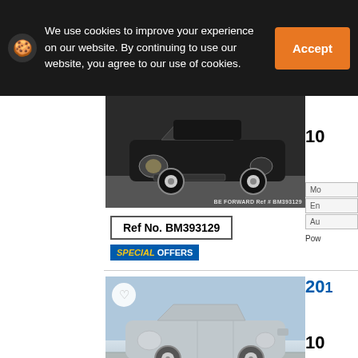We use cookies to improve your experience on our website. By continuing to use our website, you agree to our use of cookies.
[Figure (photo): Black compact car (Daihatsu Mira) front view in parking lot, BE FORWARD Ref # BM393129]
Ref No. BM393129
SPECIAL OFFERS
[Figure (photo): Silver compact car (Daihatsu Mira) front-side view on road, BE FORWARD Ref # BM401386, with heart/favourite button overlay]